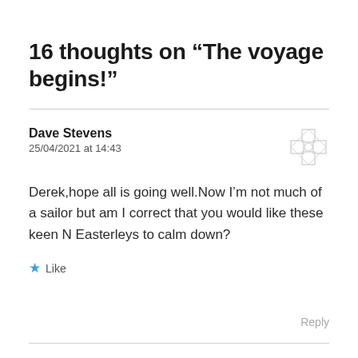16 thoughts on “The voyage begins!”
Dave Stevens
25/04/2021 at 14:43
Derek,hope all is going well.Now I’m not much of a sailor but am I correct that you would like these keen N Easterleys to calm down?
★ Like
Reply